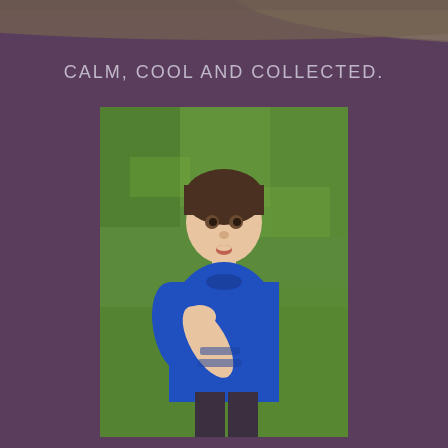[Figure (photo): Partial top photo showing curved edge of object on dark/mauve background, cropped at top of page]
CALM, COOL AND COLLECTED.
[Figure (photo): Young boy with dark hair wearing a blue t-shirt, standing on green grass, looking at camera with mouth slightly open, hand on chest]